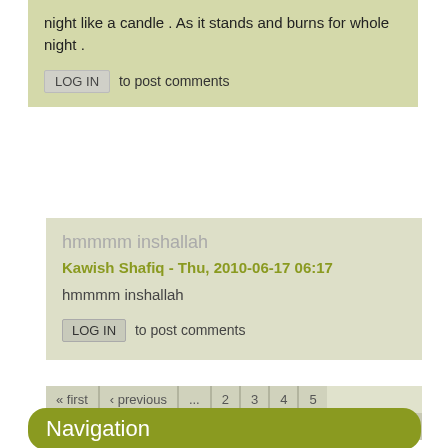night like a candle . As it stands and burns for whole night .
LOG IN  to post comments
hmmmm inshallah
Kawish Shafiq - Thu, 2010-06-17 06:17
hmmmm inshallah
LOG IN  to post comments
« first  ‹ previous  ...  2  3  4  5  6  7  8  9  10  ...  next ›  last »
Navigation